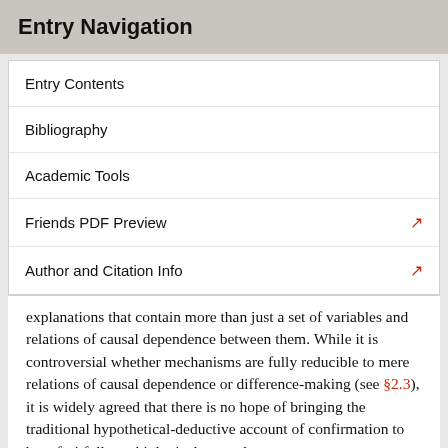Entry Navigation
Entry Contents
Bibliography
Academic Tools
Friends PDF Preview
Author and Citation Info
explanations that contain more than just a set of variables and relations of causal dependence between them. While it is controversial whether mechanisms are fully reducible to mere relations of causal dependence or difference-making (see §2.3), it is widely agreed that there is no hope of bringing the traditional hypothetical-deductive account of confirmation to bear fruitfully on biological examples
On this account, hypotheses are tested by deducing predictions or other empirical consequences from general the…